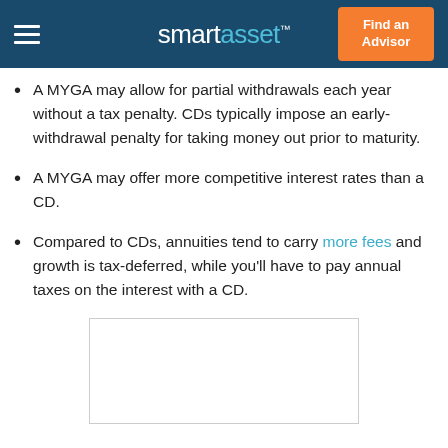smartasset™  Find an Advisor
A MYGA may allow for partial withdrawals each year without a tax penalty. CDs typically impose an early-withdrawal penalty for taking money out prior to maturity.
A MYGA may offer more competitive interest rates than a CD.
Compared to CDs, annuities tend to carry more fees and growth is tax-deferred, while you'll have to pay annual taxes on the interest with a CD.
[Figure (other): Advertisement or image placeholder box, outlined with a light gray border, no visible content inside.]